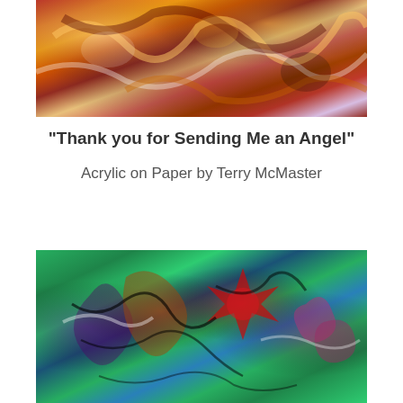[Figure (illustration): Abstract acrylic painting with warm orange, red, yellow, and dark tones, expressive brushwork on paper.]
“Thank you for Sending Me an Angel”
Acrylic on Paper by Terry McMaster
[Figure (illustration): Abstract acrylic painting on green background with expressive figures, floral motifs in red, purple, and dark brushstrokes.]